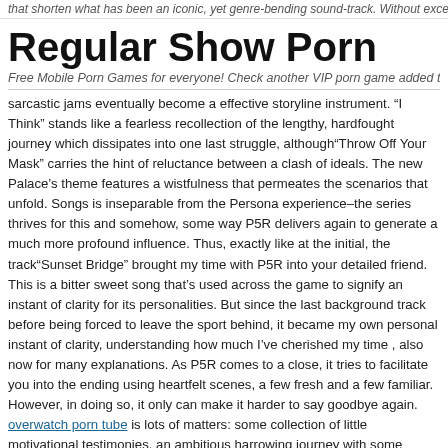that shorten what has been an iconic, yet genre-bending sound-track. Without exception I
Regular Show Porn
Free Mobile Porn Games for everyone! Check another VIP porn game added today!, a
sarcastic jams eventually become a effective storyline instrument. “I Think” stands like a fearless recollection of the lengthy, hardfought journey which dissipates into one last struggle, although“Throw Off Your Mask” carries the hint of reluctance between a clash of ideals. The new Palace’s theme features a wistfulness that permeates the scenarios that unfold. Songs is inseparable from the Persona experience–the series thrives for this and somehow, some way P5R delivers again to generate a much more profound influence. Thus, exactly like at the initial, the track“Sunset Bridge” brought my time with P5R into your detailed friend. This is a bitter sweet song that’s used across the game to signify an instant of clarity for its personalities. But since the last background track before being forced to leave the sport behind, it became my own personal instant of clarity, understanding how much I’ve cherished my time , also now for many explanations. As P5R comes to a close, it tries to facilitate you into the ending using heartfelt scenes, a few fresh and a few familiar. However, in doing so, it only can make it harder to say goodbye again. overwatch porn tube is lots of matters: some collection of little motivational testimonies, an ambitious harrowing journey with some decent friends, a magnificent visual and sensory encounter, a resounding call to action. By optimizing what has been great and building on its best qualities having a brilliant new narrative arc, overwatch porn tube asserts as a memorable and empowering RPG that should be named one of the greatest matches of the time.
This entry was posted in Hentai Porn Bookmark the permalink.
← This game is much tougher than the initial, and you’ll get on its level or thankfully die trying.
Changing the planet normally takes heart. →